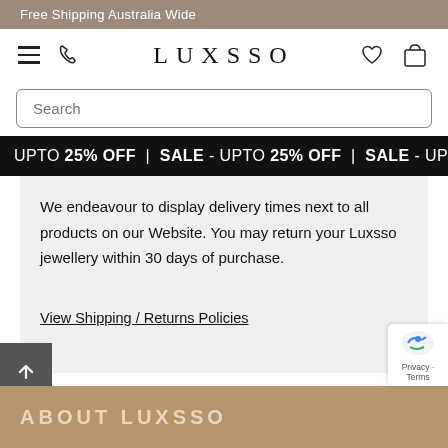Free Shipping Australia Wide
[Figure (logo): LUXSSO brand logo with hamburger menu, phone icon, heart icon, and shopping bag icon]
Search
UPTO 25% OFF | SALE - UPTO 25% OFF | SALE - UPTO
We endeavour to display delivery times next to all products on our Website. You may return your Luxsso jewellery within 30 days of purchase.
View Shipping / Returns Policies
ABOUT LUXSSO